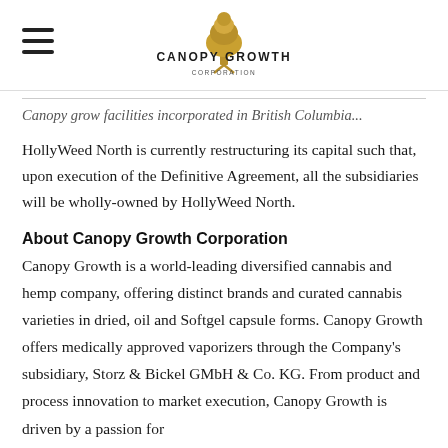Canopy Growth Corporation
Canopy grow facilities incorporated in British Columbia...
HollyWeed North is currently restructuring its capital such that, upon execution of the Definitive Agreement, all the subsidiaries will be wholly-owned by HollyWeed North.
About Canopy Growth Corporation
Canopy Growth is a world-leading diversified cannabis and hemp company, offering distinct brands and curated cannabis varieties in dried, oil and Softgel capsule forms. Canopy Growth offers medically approved vaporizers through the Company's subsidiary, Storz & Bickel GMbH & Co. KG. From product and process innovation to market execution, Canopy Growth is driven by a passion for